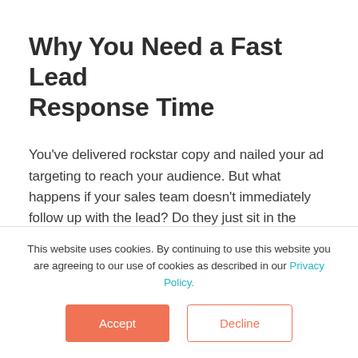Why You Need a Fast Lead Response Time
You've delivered rockstar copy and nailed your ad targeting to reach your audience. But what happens if your sales team doesn't immediately follow up with the lead? Do they just sit in the queue? A fast lead response time helps B2B companies close deals quickly and more.
This website uses cookies. By continuing to use this website you are agreeing to our use of cookies as described in our Privacy Policy.